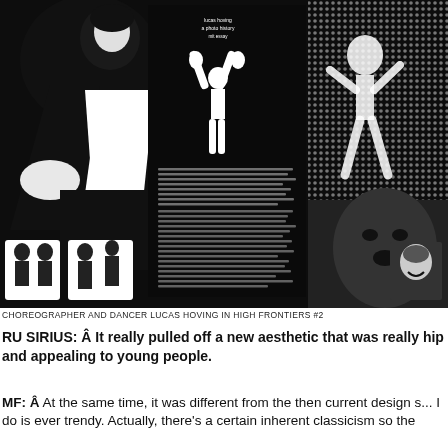[Figure (photo): High-contrast black and white photographic collage showing choreographer and dancer Lucas Hoving in multiple poses, including a large central figure in a tuxedo, smaller dance figures, and a halftone portrait on the right side. A central dark panel contains small text and a white silhouette figure. Text on panel reads 'lucas hoving a photo history' and biographical text below.]
CHOREOGRAPHER AND DANCER LUCAS HOVING IN HIGH FRONTIERS #2
RU SIRIUS: Â It really pulled off a new aesthetic that was really hip and appealing to young people.
MF: Â At the same time, it was different from the then current design s... I do is ever trendy. Actually, there's a certain inherent classicism so th...